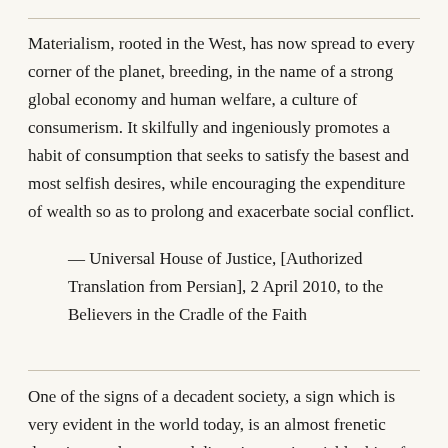Materialism, rooted in the West, has now spread to every corner of the planet, breeding, in the name of a strong global economy and human welfare, a culture of consumerism. It skilfully and ingeniously promotes a habit of consumption that seeks to satisfy the basest and most selfish desires, while encouraging the expenditure of wealth so as to prolong and exacerbate social conflict.
— Universal House of Justice, [Authorized Translation from Persian], 2 April 2010, to the Believers in the Cradle of the Faith
One of the signs of a decadent society, a sign which is very evident in the world today, is an almost frenetic devotion to pleasure and diversion, an insatiable thirst for amusement, a